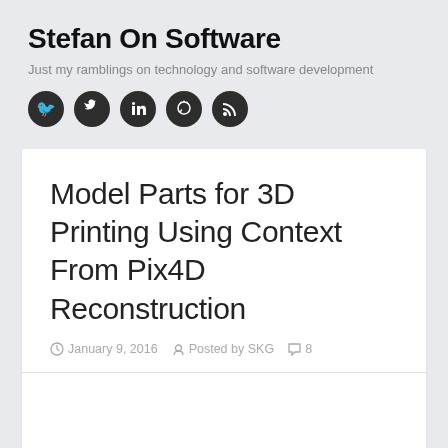Stefan On Software
Just my ramblings on technology and software development
[Figure (other): Four social media icons (Twitter, LinkedIn, GitHub, RSS) as dark circular buttons]
Model Parts for 3D Printing Using Context From Pix4D Reconstruction
January 9, 2016   Posted by SKG   8